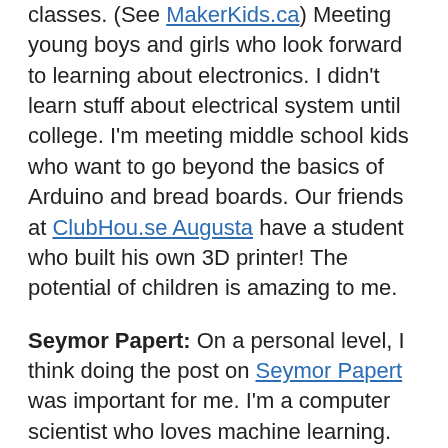classes. (See MakerKids.ca)  Meeting young boys and girls who look forward to learning about electronics.  I didn't learn stuff about electrical system until college.  I'm meeting middle school kids who want to go beyond the basics of Arduino and bread boards.  Our friends at ClubHou.se Augusta have a student who built his own 3D printer!  The potential of children is amazing to me.
Seymor Papert:  On a personal level, I think doing the post on Seymor Papert was important for me.   I'm a computer scientist who loves machine learning.   I've been asking myself "why do I like writing a blog on education so much?  Education is not your field!!"  Firstly, I've recently discovered that many of the great thinkers in computer science had a heart for using the computer as a means of growing the creative capacity and learning potential of children.  It was cool to find